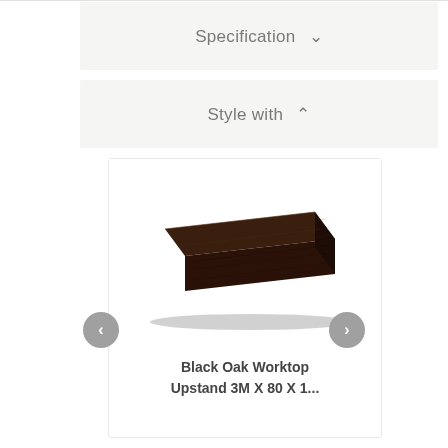Specification ∨
Style with ∧
[Figure (photo): A dark brown / black oak worktop upstand piece shown in perspective view — a long flat rectangular plank with visible wood grain texture on top and front face.]
Black Oak Worktop Upstand 3M X 80 X 1...